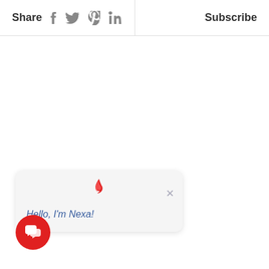Share  Subscribe
[Figure (screenshot): Chat popup card with a flame icon at top center, a close X button, and message text 'Hello, I'm Nexa!' in blue, on a light gray rounded card]
Hello, I'm Nexa!
[Figure (other): Round red chat/messaging button with white speech bubble icon, positioned at bottom left]